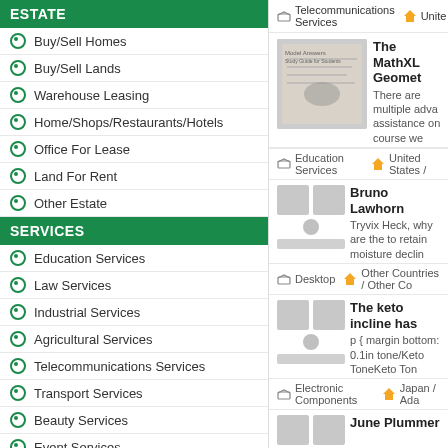ESTATE
Buy/Sell Homes
Buy/Sell Lands
Warehouse Leasing
Home/Shops/Restaurants/Hotels
Office For Lease
Land For Rent
Other Estate
SERVICES
Education Services
Law Services
Industrial Services
Agricultural Services
Telecommunications Services
Transport Services
Beauty Services
Event Services
Cooking Services
Child Care Services
Travel Services
Computers / IT Services
Advertising & Marketing Services
Telecommunications Services  Unite
The MathXL Geomet
There are multiple adva assistance on course we
Education Services  United States /
Bruno Lawhorn
Tryvix Heck, why are the to retain moisture declin
Desktop  Other Countries / Other Co
The keto incline has
p { margin bottom: 0.1in tone/Keto ToneKeto Ton
Electronic Components  Japan / Ada
June Plummer